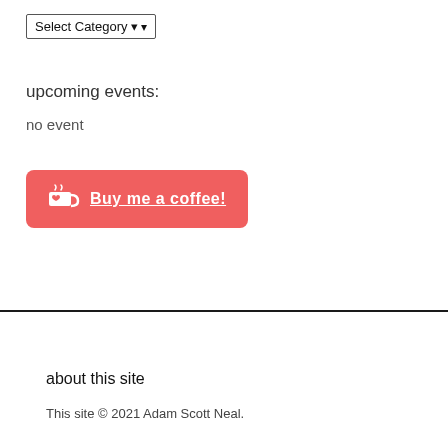Select Category
upcoming events:
no event
[Figure (other): A red rounded-rectangle button with a coffee cup icon and bold underlined white text reading 'Buy me a coffee!']
about this site
This site © 2021 Adam Scott Neal.